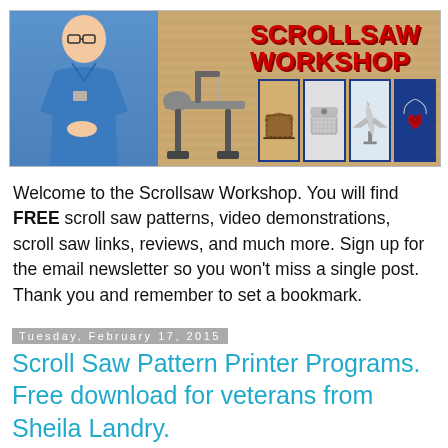[Figure (photo): Scrollsaw Workshop website banner with a man in a blue shirt, a scroll saw machine, and four thumbnail images of scroll saw projects (basket, decorative box, airplane, pendant). Red bold text reads 'SCROLLSAW WORKSHOP' on a wood-toned background.]
Welcome to the Scrollsaw Workshop. You will find FREE scroll saw patterns, video demonstrations, scroll saw links, reviews, and much more. Sign up for the email newsletter so you won’t miss a single post. Thank you and remember to set a bookmark.
Tuesday, February 17, 2015
Scroll Saw Pattern Printer Programs. Free download for veterans from Sheila Landry.